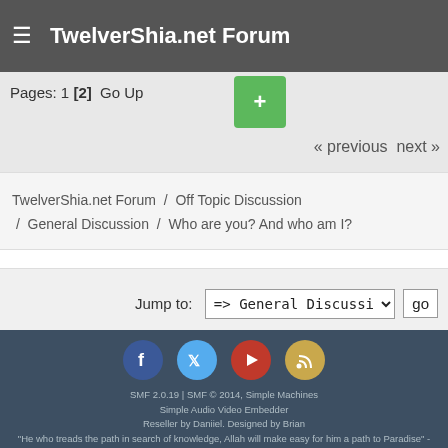TwelverShia.net Forum
Pages: 1 [2]  Go Up  +
« previous next »
TwelverShia.net Forum / Off Topic Discussion / General Discussion / Who are you? And who am I?
Jump to: => General Discussion  go
SMF 2.0.19 | SMF © 2014, Simple Machines
Simple Audio Video Embedder
Reseller by Daniiel. Designed by Brian
"He who treads the path in search of knowledge, Allah will make easy for him a path to Paradise" - Messenger of Allah ﷺ